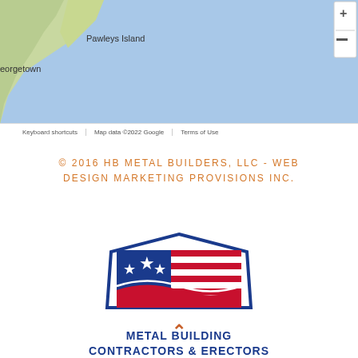[Figure (screenshot): Google Maps screenshot showing coastal area with Pawleys Island, Georgetown labels, Google logo, and map controls. Map data ©2022 Google. Toolbar with plus/minus zoom buttons on right side. Bottom bar shows: Keyboard shortcuts | Map data ©2022 Google | Terms of Use]
© 2016 HB METAL BUILDERS, LLC - WEB DESIGN MARKETING PROVISIONS INC.
[Figure (logo): Metal Building Contractors & Erectors Association logo: pentagon/house-shaped blue outline containing an American flag (stars and stripes), with text below reading METAL BUILDING CONTRACTORS & ERECTORS ASSOCIATION in blue bold letters]
^